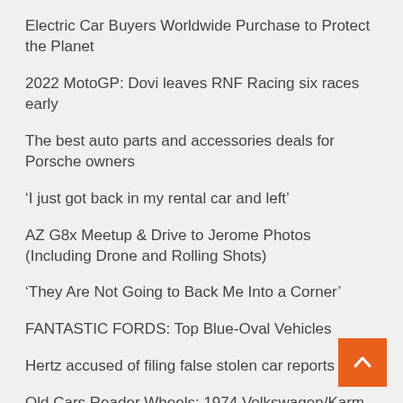Electric Car Buyers Worldwide Purchase to Protect the Planet
2022 MotoGP: Dovi leaves RNF Racing six races early
The best auto parts and accessories deals for Porsche owners
‘I just got back in my rental car and left’
AZ G8x Meetup & Drive to Jerome Photos (Including Drone and Rolling Shots)
‘They Are Not Going to Back Me Into a Corner’
FANTASTIC FORDS: Top Blue-Oval Vehicles
Hertz accused of filing false stolen car reports
Old Cars Reader Wheels: 1974 Volkswagen/Karm Ghia